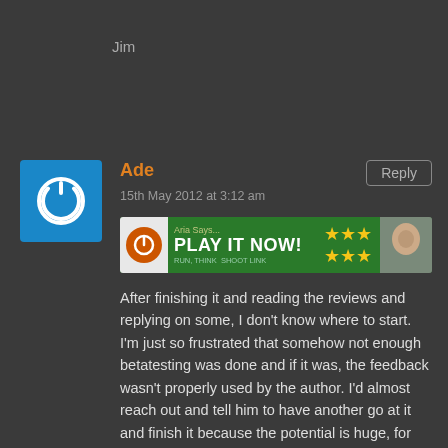Jim
Ade
15th May 2012 at 3:12 am
[Figure (other): Advertisement banner: green background with power icon, 'Aria Says... PLAY IT NOW!' text and star ratings]
After finishing it and reading the reviews and replying on some, I don't know where to start.
I'm just so frustrated that somehow not enough betatesting was done and if it was, the feedback wasn't properly used by the author. I'd almost reach out and tell him to have another go at it and finish it because the potential is huge, for the modder and for the mod itself. Starting a new mod seems ok but to leave this one unfinished is just